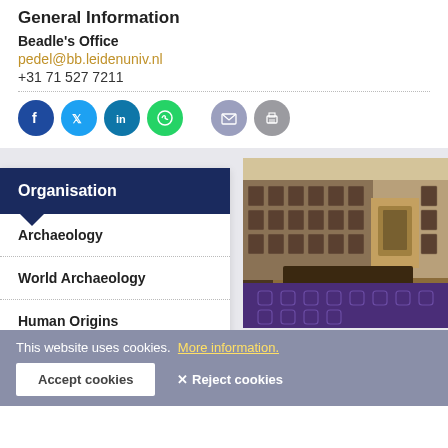General Information
Beadle's Office
pedel@bb.leidenuniv.nl
+31 71 527 7211
[Figure (infographic): Social media sharing icons: Facebook (blue), Twitter (cyan), LinkedIn (teal), WhatsApp (green), Email (lavender), Print (grey)]
Organisation
Archaeology
World Archaeology
Human Origins
[Figure (photo): Interior of a grand university hall with portrait paintings on walls and a patterned purple carpet]
Live video stream
This website uses cookies.
More information.
Accept cookies
✕ Reject cookies